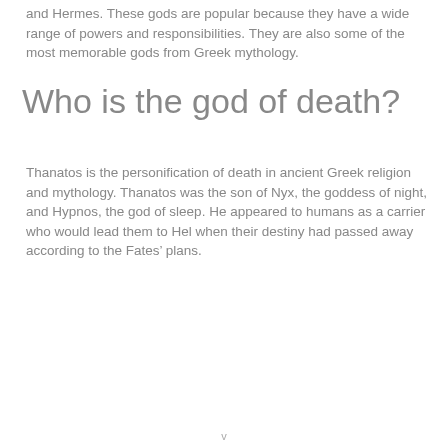and Hermes. These gods are popular because they have a wide range of powers and responsibilities. They are also some of the most memorable gods from Greek mythology.
Who is the god of death?
Thanatos is the personification of death in ancient Greek religion and mythology. Thanatos was the son of Nyx, the goddess of night, and Hypnos, the god of sleep. He appeared to humans as a carrier who would lead them to Hel when their destiny had passed away according to the Fates’ plans.
v